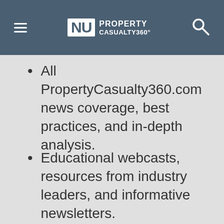NU PROPERTY CASUALTY360°
All PropertyCasualty360.com news coverage, best practices, and in-depth analysis.
Educational webcasts, resources from industry leaders, and informative newsletters.
Other award-winning websites